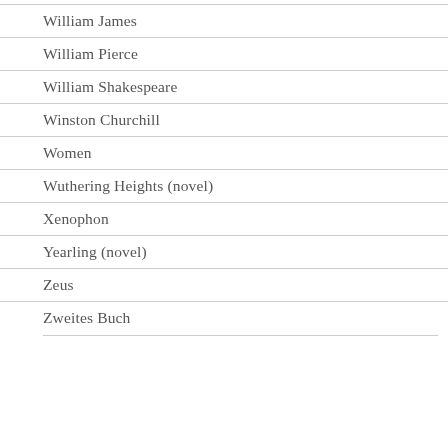William James
William Pierce
William Shakespeare
Winston Churchill
Women
Wuthering Heights (novel)
Xenophon
Yearling (novel)
Zeus
Zweites Buch